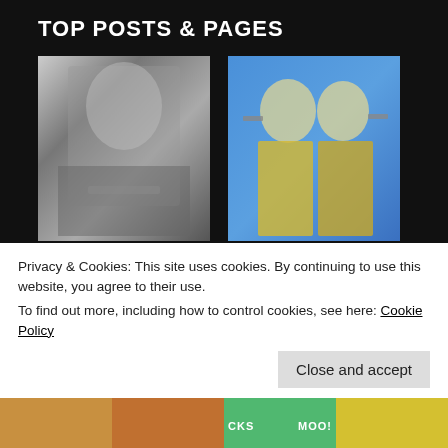TOP POSTS & PAGES
[Figure (photo): Black and white photo of a blonde woman in lingerie holding a rifle]
[Figure (photo): Color photo of two blonde women in gold outfits holding guns against blue background]
[Figure (photo): Partial color photo showing a woman with red curtain background]
[Figure (photo): Partial photo showing PARADE magazine cover text in yellow letters on teal background]
Privacy & Cookies: This site uses cookies. By continuing to use this website, you agree to their use.
To find out more, including how to control cookies, see here: Cookie Policy
[Figure (photo): Bottom strip of partial photos]